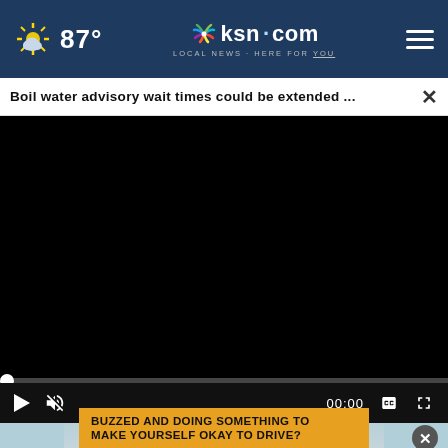87° ksn.com LOCAL NEWS · HERE FOR YOU
Boil water advisory wait times could be extended ...
[Figure (screenshot): Black video player area showing a paused video with 00:00 timestamp. Controls include play button, mute icon, timestamp 00:00, CC button, and fullscreen button. A progress bar with a white dot is at the top of the controls.]
[Figure (photo): Partial view of a woman with brown hair wearing a black top, with a light blue background. An advertisement overlay reads 'BUZZED AND DOING SOMETHING TO MAKE YOURSELF OKAY TO DRIVE?' in bold black text on a yellow/orange background.]